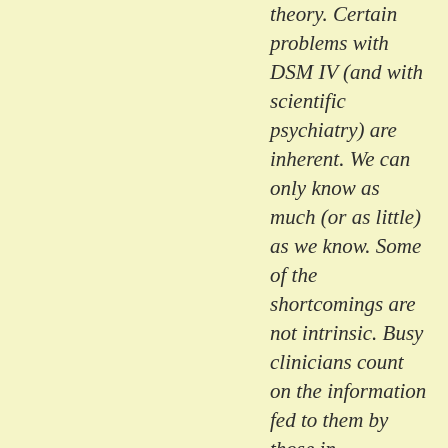theory. Certain problems with DSM IV (and with scientific psychiatry) are inherent. We can only know as much (or as little) as we know. Some of the shortcomings are not intrinsic. Busy clinicians count on the information fed to them by those in universities who have the time to sort out